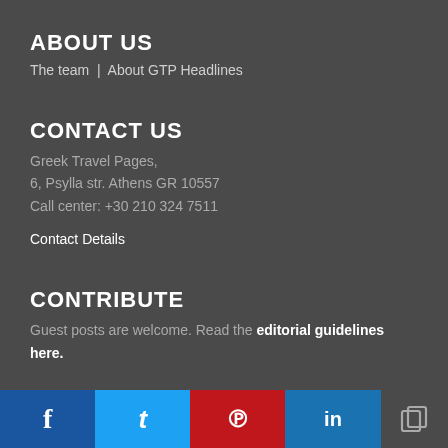ABOUT US
The team | About GTP Headlines
CONTACT US
Greek Travel Pages,
6, Psylla str. Athens GR 10557
Call center: +30 210 324 7511
Contact Details
CONTRIBUTE
Guest posts are welcome. Read the editorial guidelines here.
f  t  p  in  [copy icon]